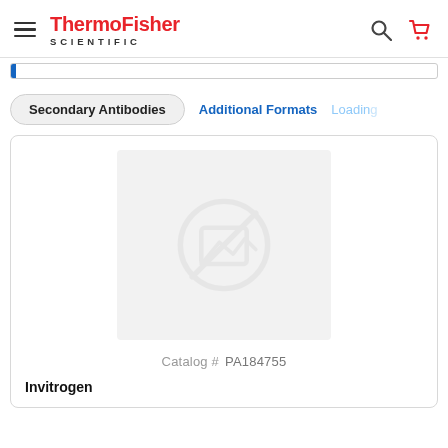ThermoFisher SCIENTIFIC
Secondary Antibodies | Additional Formats | Loading
[Figure (screenshot): Product image placeholder with no-image icon (circle with slash) on grey background]
Catalog # PA184755
Invitrogen